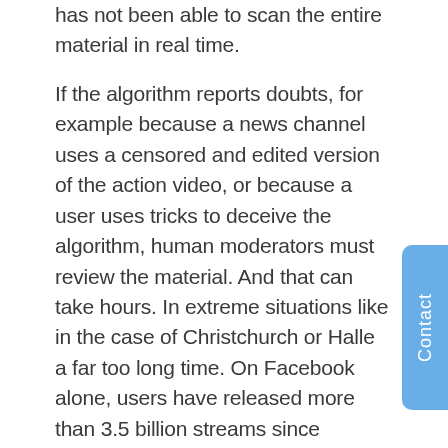has not been able to scan the entire material in real time.

If the algorithm reports doubts, for example because a news channel uses a censored and edited version of the action video, or because a user uses tricks to deceive the algorithm, human moderators must review the material. And that can take hours. In extreme situations like in the case of Christchurch or Halle a far too long time. On Facebook alone, users have released more than 3.5 billion streams since launching their live streaming offer in April 2018. They are the Achilles heel of any platform.